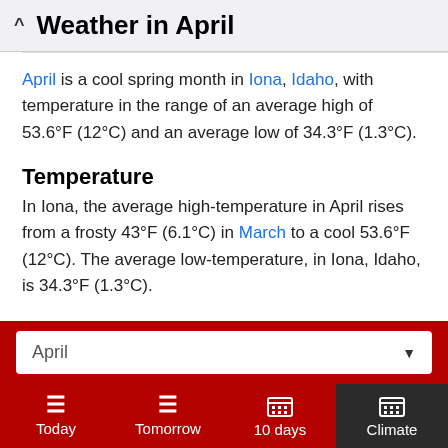Weather in April
April is a cool spring month in Iona, Idaho, with temperature in the range of an average high of 53.6°F (12°C) and an average low of 34.3°F (1.3°C).
Temperature
In Iona, the average high-temperature in April rises from a frosty 43°F (6.1°C) in March to a cool 53.6°F (12°C). The average low-temperature, in Iona, Idaho, is 34.3°F (1.3°C).